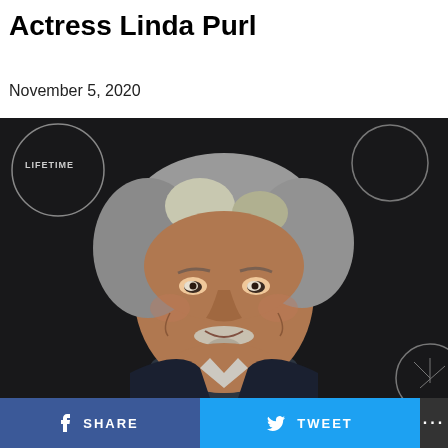Actress Linda Purl
November 5, 2020
[Figure (photo): Smiling older man with gray hair and goatee at a Lifetime network event, dark background with Lifetime logo circles]
SHARE   TWEET   ...